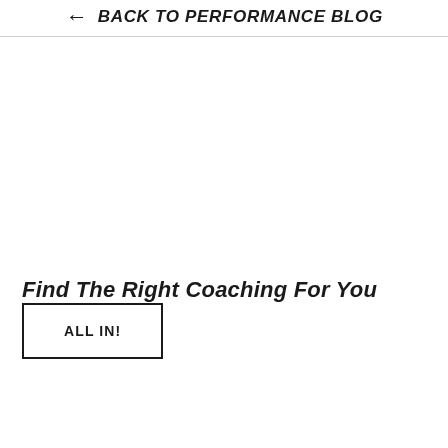← BACK TO PERFORMANCE BLOG
Find The Right Coaching For You
ALL IN!